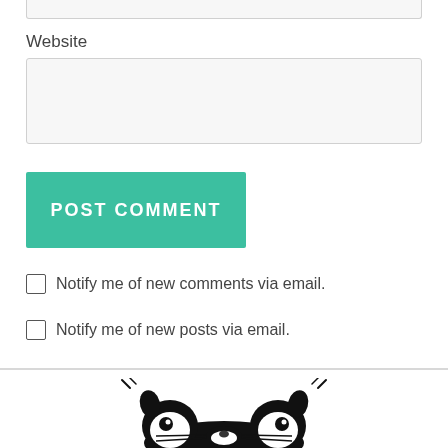Website
Notify me of new comments via email.
Notify me of new posts via email.
[Figure (illustration): Cartoon animal illustration peeking from the bottom of the page]